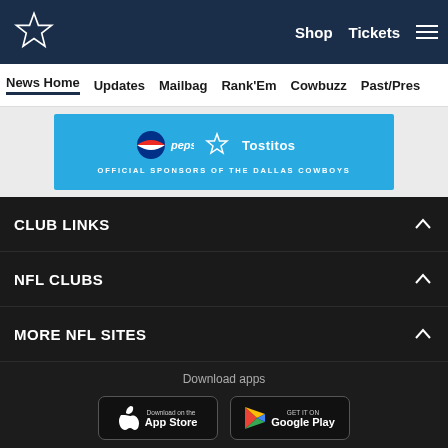Dallas Cowboys website header with logo, Shop, Tickets, and navigation menu
News Home  Updates  Mailbag  Rank'Em  Cowbuzz  Past/Pres
[Figure (logo): Pepsi and Tostitos official sponsors of the Dallas Cowboys banner]
CLUB LINKS
NFL CLUBS
MORE NFL SITES
Download apps
[Figure (screenshot): App Store download button]
[Figure (screenshot): Google Play download button]
[Figure (infographic): Social share icons: Facebook, Twitter, Email, Link]